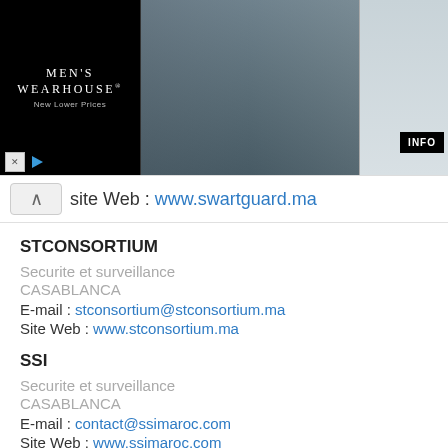[Figure (photo): Men's Wearhouse advertisement banner showing couple in formal wear and man in white suit, with INFO button]
Site Web : www.swartguard.ma
STCONSORTIUM
Securite et surveillance
CASABLANCA
E-mail : stconsortium@stconsortium.ma
Site Web : www.stconsortium.ma
SSI
Securite et surveillance
CASABLANCA
E-mail : contact@ssimaroc.com
Site Web : www.ssimaroc.com
SPECTATOR MAROC
Securite et surveillance